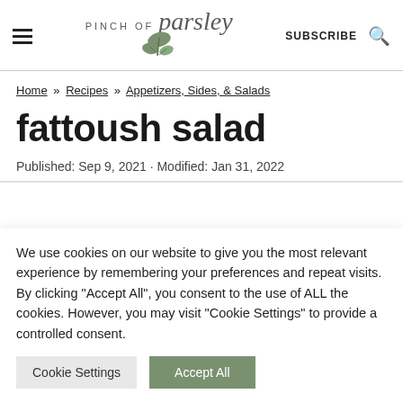PINCH OF parsley — SUBSCRIBE
Home » Recipes » Appetizers, Sides, & Salads
fattoush salad
Published: Sep 9, 2021 · Modified: Jan 31, 2022
We use cookies on our website to give you the most relevant experience by remembering your preferences and repeat visits. By clicking "Accept All", you consent to the use of ALL the cookies. However, you may visit "Cookie Settings" to provide a controlled consent.